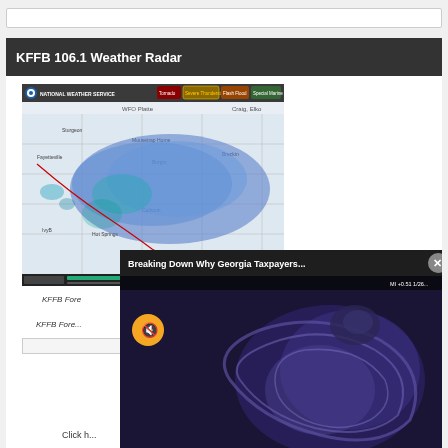[Figure (screenshot): Browser search/address bar]
KFFB 106.1 Weather Radar
[Figure (screenshot): National Weather Service weather radar map showing precipitation over central United States with tornado, severe thunderstorm, flash flood, and special marine warning buttons in header]
KFFB Fore...
[Figure (screenshot): Video popup overlay showing 'Breaking Down Why Georgia Taxpayers...' title with close button and video thumbnail of ultrasound/swirling imagery with mute button]
Click h...